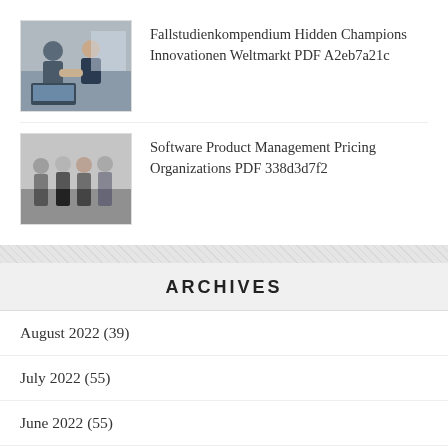[Figure (photo): Business people shaking hands / working at laptop]
Fallstudienkompendium Hidden Champions Innovationen Weltmarkt PDF A2eb7a21c
[Figure (photo): Group of business people standing]
Software Product Management Pricing Organizations PDF 338d3d7f2
ARCHIVES
August 2022 (39)
July 2022 (55)
June 2022 (55)
May 2022 (53)
April 2022 (71)
March 2022 (52)
February 2022 (44)